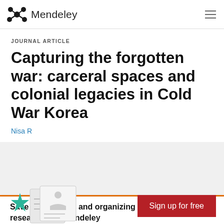Mendeley
JOURNAL ARTICLE
Capturing the forgotten war: carceral spaces and colonial legacies in Cold War Korea
Nisa R
Save time finding and organizing research with Mendeley
Sign up for free